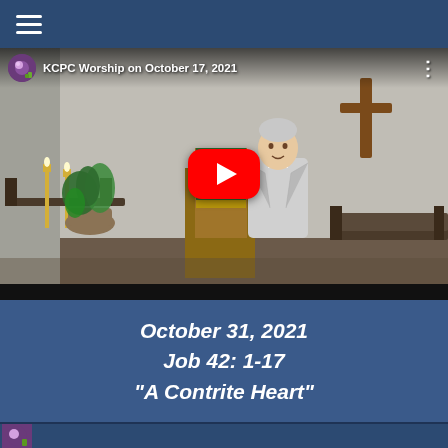≡ (hamburger menu)
[Figure (screenshot): YouTube video thumbnail showing a church worship service. A man in a light gray jacket stands at a wooden pulpit with a green and gold cloth. A wooden cross is visible on the wall. A plant and candles are on the left. Pews visible in background. YouTube play button overlay in center. Top bar shows title: KCPC Worship on October 17, 2021]
October 31, 2021
Job 42: 1-17
"A Contrite Heart"
[Figure (screenshot): Bottom partial thumbnail of another YouTube video showing a flower]